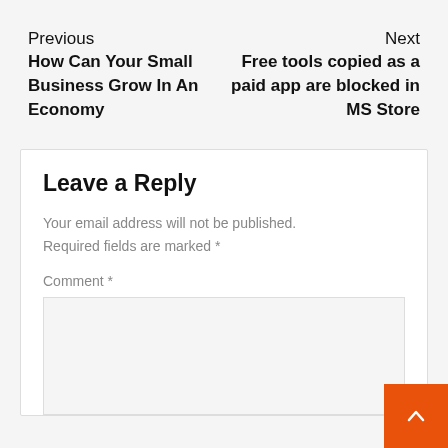Previous
How Can Your Small Business Grow In An Economy
Next
Free tools copied as a paid app are blocked in MS Store
Leave a Reply
Your email address will not be published. Required fields are marked *
Comment *